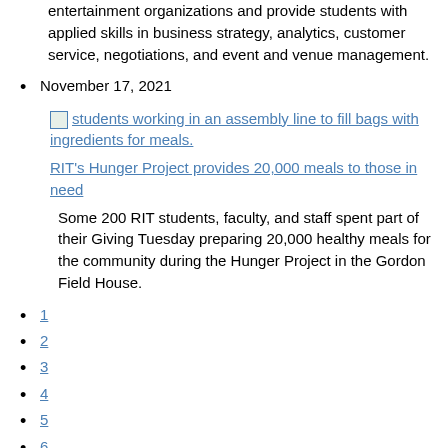entertainment organizations and provide students with applied skills in business strategy, analytics, customer service, negotiations, and event and venue management.
November 17, 2021
[Figure (photo): students working in an assembly line to fill bags with ingredients for meals.]
RIT's Hunger Project provides 20,000 meals to those in need
Some 200 RIT students, faculty, and staff spent part of their Giving Tuesday preparing 20,000 healthy meals for the community during the Hunger Project in the Gordon Field House.
1
2
3
4
5
6
7
8
9
...